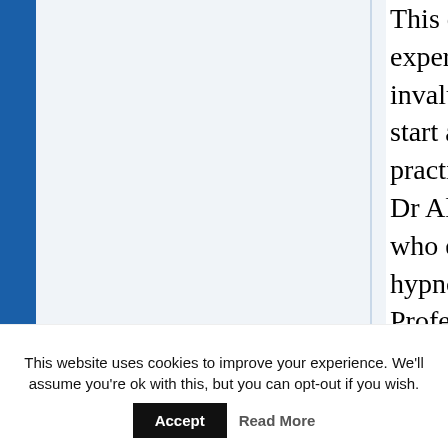This conference pr... experts tend to spec... invaluable for those... start a practice of th... practiced without d... Dr Alan Sanderson ... who endorses hypn... hypnotherapy and h... Profession. Caroline Carr obvio... extremely informat... guises/symptoms o... Sheila Granger is a... was good for a 'mo...
This website uses cookies to improve your experience. We'll assume you're ok with this, but you can opt-out if you wish.